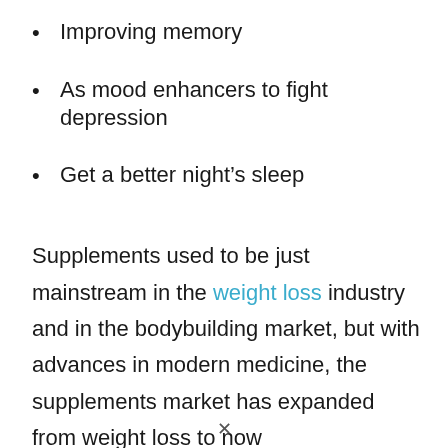Improving memory
As mood enhancers to fight depression
Get a better night's sleep
Supplements used to be just mainstream in the weight loss industry and in the bodybuilding market, but with advances in modern medicine, the supplements market has expanded from weight loss to now